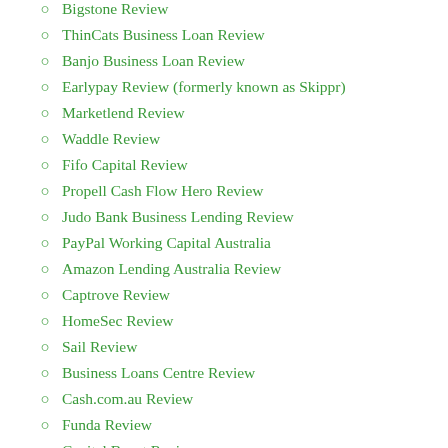Bigstone Review
ThinCats Business Loan Review
Banjo Business Loan Review
Earlypay Review (formerly known as Skippr)
Marketlend Review
Waddle Review
Fifo Capital Review
Propell Cash Flow Hero Review
Judo Bank Business Lending Review
PayPal Working Capital Australia
Amazon Lending Australia Review
Captrove Review
HomeSec Review
Sail Review
Business Loans Centre Review
Cash.com.au Review
Funda Review
Capital Boost Review
Moneytech Business Finance Review
Peta Review